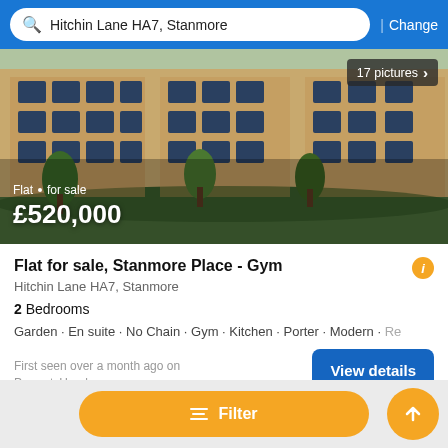Hitchin Lane HA7, Stanmore | Change
[Figure (photo): Exterior photo of a modern brick apartment building (Stanmore Place) with trees and hedges in the foreground. Overlay text shows 'Flat · for sale' and '£520,000'. Badge shows '17 pictures >']
Flat for sale, Stanmore Place - Gym
Hitchin Lane HA7, Stanmore
2 Bedrooms
Garden · En suite · No Chain · Gym · Kitchen · Porter · Modern · Re
First seen over a month ago on PropertyHeads
View details
Filter